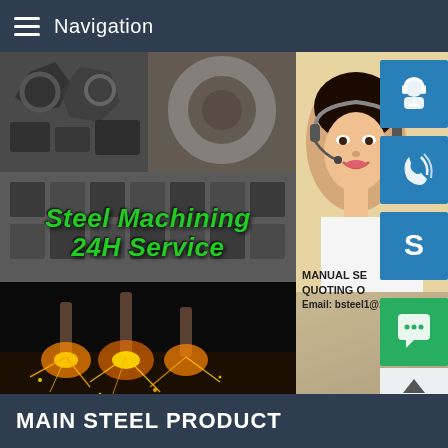Navigation
[Figure (photo): Steel machining collage showing cut metal parts, rings, steel blocks, and laser/spark cutting. Overlaid text reads 'Steel Machining 24H Service'. Right side shows a female customer service representative with blue icon buttons for headset, phone, and Skype, plus contact information.]
MANUAL SE... QUOTING O... Email: bsteel1@163.com
MAIN STEEL PRODUCT